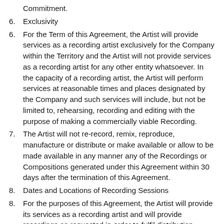Commitment.
6. Exclusivity
6. For the Term of this Agreement, the Artist will provide services as a recording artist exclusively for the Company within the Territory and the Artist will not provide services as a recording artist for any other entity whatsoever. In the capacity of a recording artist, the Artist will perform services at reasonable times and places designated by the Company and such services will include, but not be limited to, rehearsing, recording and editing with the purpose of making a commercially viable Recording.
7. The Artist will not re-record, remix, reproduce, manufacture or distribute or make available or allow to be made available in any manner any of the Recordings or Compositions generated under this Agreement within 30 days after the termination of this Agreement.
8. Dates and Locations of Recording Sessions
8. For the purposes of this Agreement, the Artist will provide its services as a recording artist and will provide recordings as requested in order to fulfil distribution standards
9. Costs